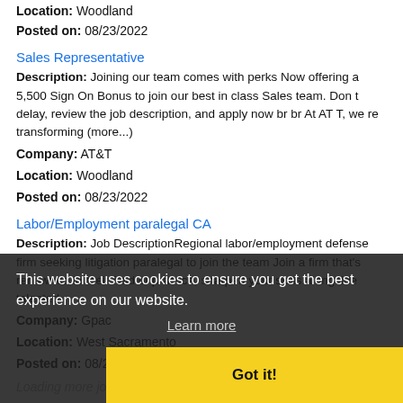Location: Woodland
Posted on: 08/23/2022
Sales Representative
Description: Joining our team comes with perks Now offering a 5,500 Sign On Bonus to join our best in class Sales team. Don t delay, review the job description, and apply now br br At AT T, we re transforming (more...)
Company: AT&T
Location: Woodland
Posted on: 08/23/2022
Labor/Employment paralegal CA
Description: Job DescriptionRegional labor/employment defense firm seeking litigation paralegal to join the team Join a firm that's renowned in their field of practice, sharpen your skills alongside talented
Company: Gpac
Location: West Sacramento
Posted on: 08/23/2022
Loading more jobs...
This website uses cookies to ensure you get the best experience on our website.
Learn more
Got it!
Log In or Create An Account